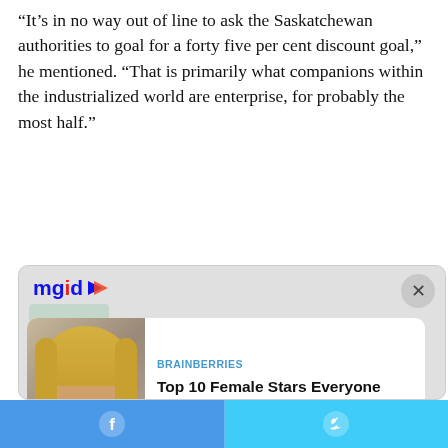“It’s in no way out of line to ask the Saskatchewan authorities to goal for a forty five per cent discount goal,” he mentioned. “That is primarily what companions within the industrialized world are enterprise, for probably the most half.”
[Figure (screenshot): MGID ad widget showing two sponsored content cards: 1) BRAINBERRIES - 'Top 10 Female Stars Everyone Had A Crush On In The 90s' with a photo of a blonde woman; 2) HERBEAUTY - 'These Celebrities Will Forever Be Associated With Infidelity' with a photo of two people.]
[Figure (screenshot): Social share bar at bottom with Facebook and Twitter icons on a blue/light-blue gradient background.]